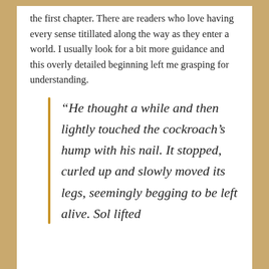the first chapter. There are readers who love having every sense titillated along the way as they enter a world. I usually look for a bit more guidance and this overly detailed beginning left me grasping for understanding.
“He thought a while and then lightly touched the cockroach’s hump with his nail. It stopped, curled up and slowly moved its legs, seemingly begging to be left alive. Sol lifted